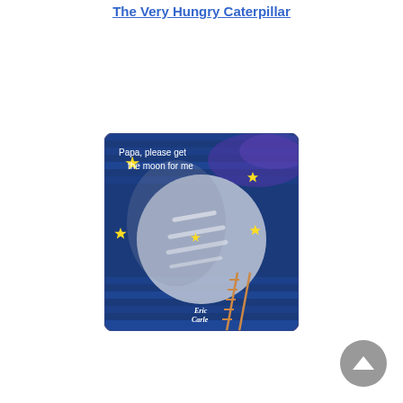The Very Hungry Caterpillar
[Figure (photo): Book cover of 'Papa, please get the moon for me' by Eric Carle, featuring a large moon with a child sitting on it against a blue starry night sky background with yellow stars and a ladder.]